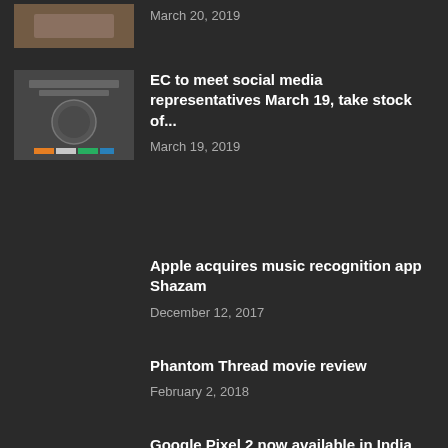[Figure (photo): Partial thumbnail image at top, cut off]
March 20, 2019
[Figure (photo): Election Commission of India logo/emblem thumbnail]
EC to meet social media representatives March 19, take stock of...
March 19, 2019
Apple acquires music recognition app Shazam
December 12, 2017
Phantom Thread movie review
February 2, 2018
Google Pixel 2 now available in India